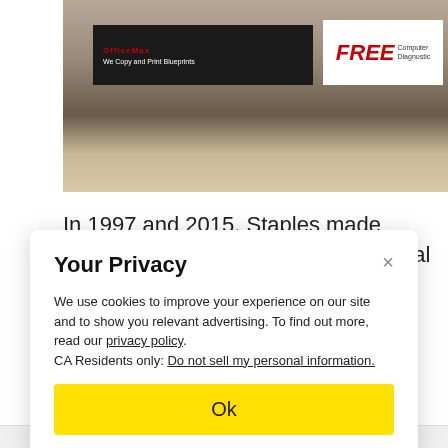[Figure (photo): Indoor retail store scene showing a curved service counter with black signage. Signs visible include OfficeMax 'We Copy and Print Blueprints' and a red/white 'FREE Computer Diagnostic' sign.]
In 1997 and 2015, Staples made offers for Office Depot, but the federal government blocked the deal due to concerns about eliminating competition in the office supplies market.
Your Privacy
We use cookies to improve your experience on our site and to show you relevant advertising. To find out more, read our privacy policy. CA Residents only: Do not sell my personal information.